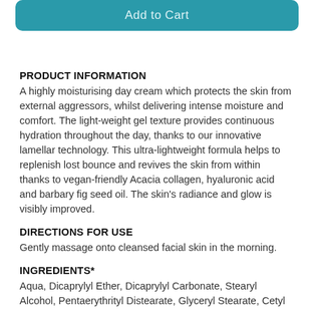[Figure (other): Add to Cart button, teal/green rounded rectangle]
PRODUCT INFORMATION
A highly moisturising day cream which protects the skin from external aggressors, whilst delivering intense moisture and comfort. The light-weight gel texture provides continuous hydration throughout the day, thanks to our innovative lamellar technology. This ultra-lightweight formula helps to replenish lost bounce and revives the skin from within thanks to vegan-friendly Acacia collagen, hyaluronic acid and barbary fig seed oil. The skin's radiance and glow is visibly improved.
DIRECTIONS FOR USE
Gently massage onto cleansed facial skin in the morning.
INGREDIENTS*
Aqua, Dicaprylyl Ether, Dicaprylyl Carbonate, Stearyl Alcohol, Pentaerythrityl Distearate, Glyceryl Stearate, Cetyl